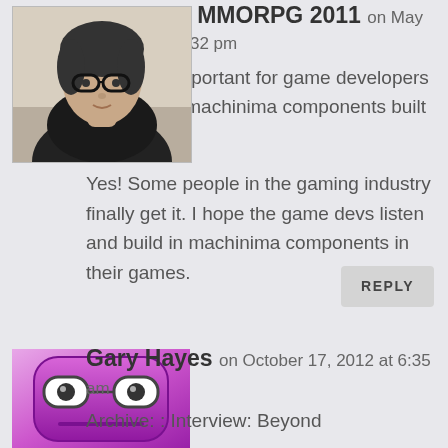[Figure (photo): Avatar photo of a woman wearing glasses and a black lace top]
Best Free MMORPG 2011
on May 11, 2011 at 2:32 pm
“it’s really important for game developers to have the machinima components built in.”
Yes! Some people in the gaming industry finally get it. I hope the game devs listen and build in machinima components in their games.
REPLY
[Figure (illustration): Cartoon purple face avatar with glasses]
Gary Hayes
on October 17, 2012 at 6:35 am
Archive: : Interview: Beyond